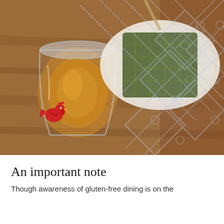[Figure (photo): Overhead photo of a wooden table with a glass of amber liquid (whiskey or tea) on the left and a plate with a green food item (possibly a savory waffle or pressed herb dish) on the right. A decorative diamond/lattice grid pattern overlay is visible in the upper right area. A small red hen/bird logo appears in the lower left of the image.]
An important note
Though awareness of gluten-free dining is on the